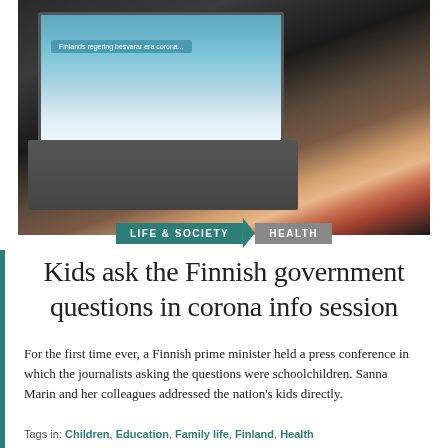[Figure (photo): A young child looking at a laptop screen from behind, wearing a pink floral dress. The laptop screen shows a news/media website with a blue-toned interface.]
LIFE & SOCIETY / HEALTH
Kids ask the Finnish government questions in corona info session
For the first time ever, a Finnish prime minister held a press conference in which the journalists asking the questions were schoolchildren. Sanna Marin and her colleagues addressed the nation's kids directly.
Tags in: Children, Education, Family life, Finland, Health